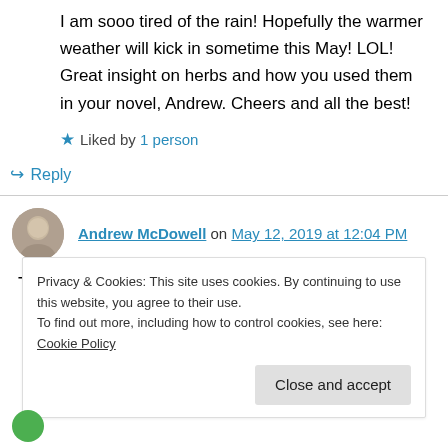I am sooo tired of the rain! Hopefully the warmer weather will kick in sometime this May! LOL! Great insight on herbs and how you used them in your novel, Andrew. Cheers and all the best!
★ Liked by 1 person
↪ Reply
Andrew McDowell on May 12, 2019 at 12:04 PM
Thanks for the well-wishes everyone!
Privacy & Cookies: This site uses cookies. By continuing to use this website, you agree to their use.
To find out more, including how to control cookies, see here: Cookie Policy
Close and accept